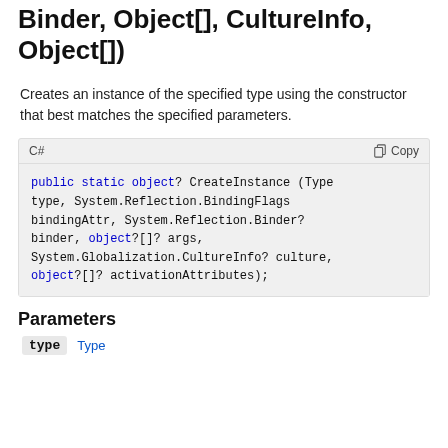Binder, Object[], CultureInfo, Object[])
Creates an instance of the specified type using the constructor that best matches the specified parameters.
[Figure (screenshot): C# code block showing: public static object? CreateInstance (Type type, System.Reflection.BindingFlags bindingAttr, System.Reflection.Binder? binder, object?[]? args, System.Globalization.CultureInfo? culture, object?[]? activationAttributes);]
Parameters
type   Type